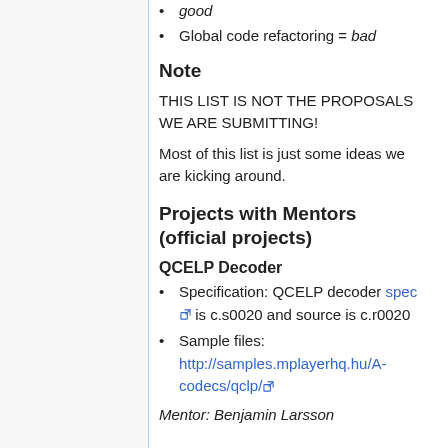good
Global code refactoring = bad
Note
THIS LIST IS NOT THE PROPOSALS WE ARE SUBMITTING!
Most of this list is just some ideas we are kicking around.
Projects with Mentors (official projects)
QCELP Decoder
Specification: QCELP decoder spec is c.s0020 and source is c.r0020
Sample files: http://samples.mplayerhq.hu/A-codecs/qclp/
Mentor: Benjamin Larsson